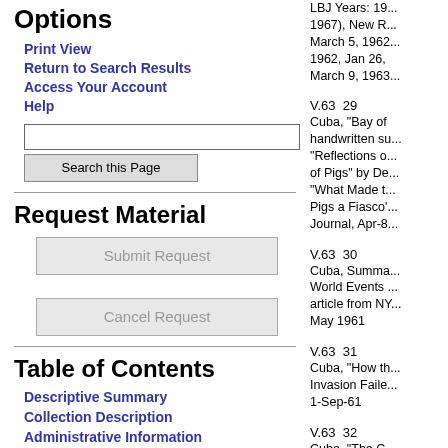Options
Print View
Return to Search Results
Access Your Account
Help
Request Material
Table of Contents
Descriptive Summary
Collection Description
Administrative Information
LBJ Years: 19... 1967), New R... March 5, 1962... 1962, Jan 26, ... March 9, 1963...
V.63  29
Cuba, "Bay of ... handwritten su... "Reflections o... of Pigs" by De... "What Made t... Pigs a Fiasco'... Journal, Apr-8...
V.63  30
Cuba, Summa... World Events ... article from NY... May 1961
V.63  31
Cuba, "How th... Invasion Faile... 1-Sep-61
V.63  32
Cuba, "The C... Invasion," NYT... 1961-August 1...
V.63  32
Cuba, NYT, Ap... Oct 1962
V.63  32
Cuba, Atlanta...